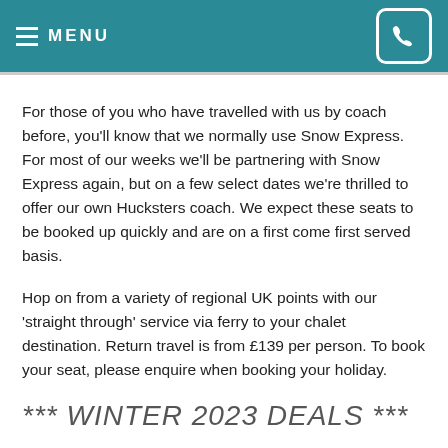MENU
For those of you who have travelled with us by coach before, you'll know that we normally use Snow Express. For most of our weeks we'll be partnering with Snow Express again, but on a few select dates we're thrilled to offer our own Hucksters coach. We expect these seats to be booked up quickly and are on a first come first served basis.
Hop on from a variety of regional UK points with our 'straight through' service via ferry to your chalet destination. Return travel is from £139 per person. To book your seat, please enquire when booking your holiday.
*** WINTER 2023 DEALS ***